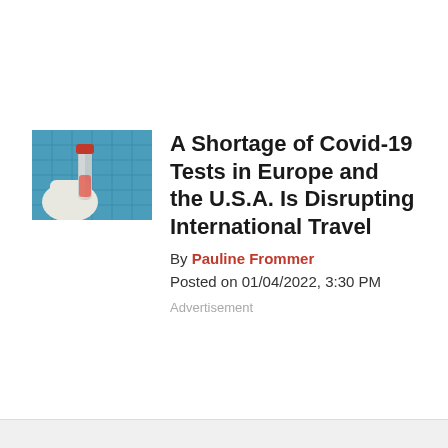[Figure (photo): Thumbnail image of a COVID-19 test tube or vial being held with gloved hand against a blue grid background]
A Shortage of Covid-19 Tests in Europe and the U.S.A. Is Disrupting International Travel
By Pauline Frommer
Posted on 01/04/2022, 3:30 PM
Advertisement